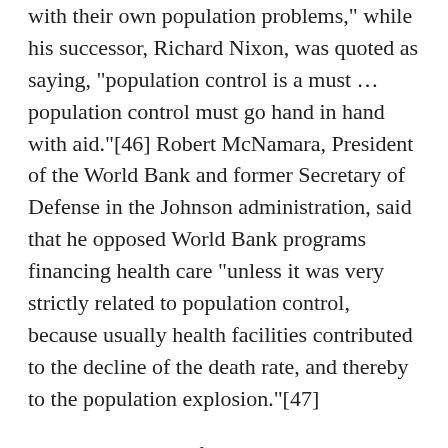with their own population problems," while his successor, Richard Nixon, was quoted as saying, "population control is a must … population control must go hand in hand with aid."[46] Robert McNamara, President of the World Bank and former Secretary of Defense in the Johnson administration, said that he opposed World Bank programs financing health care "unless it was very strictly related to population control, because usually health facilities contributed to the decline of the death rate, and thereby to the population explosion."[47]
Ehrlich was also influential in tracking India's rapid population growth into the 1970s. The rapid population growth in India was attributed at the time to the result of the public health system the British had set up under the colonial government, as well as